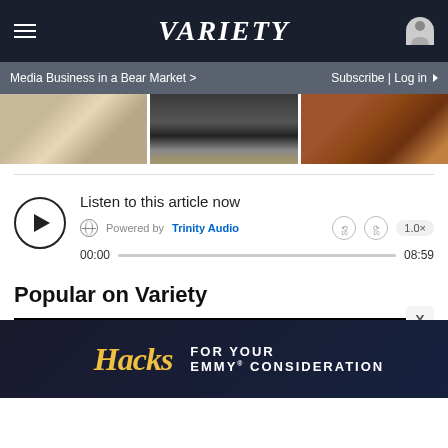Variety
Media Business in a Bear Market >
Subscribe | Log in
[Figure (photo): Three cropped images showing people: fabric/clothing on left, black dress shoes on wooden floor in center, hands making a heart shape on brown background on right]
[Figure (other): Audio player widget: play button, 'Listen to this article now', Powered by Trinity Audio, skip buttons, 1.0x speed button, progress bar from 00:00 to 08:59]
Popular on Variety
[Figure (other): Black video thumbnail area]
[Figure (other): Advertisement banner for Hacks TV show: 'Hacks FOR YOUR EMMY CONSIDERATION']